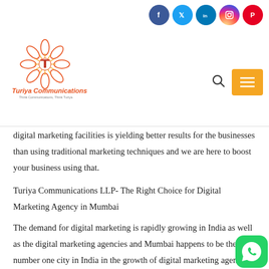[Figure (logo): Turiya Communications logo with orange sun/flower emblem, brand name in orange and red, tagline 'Think Communications, Think Turiya']
[Figure (other): Social media icons row: Facebook (blue), Twitter (light blue), LinkedIn (blue), Instagram (gradient), Pinterest (red)]
digital marketing facilities is yielding better results for the businesses than using traditional marketing techniques and we are here to boost your business using that.
Turiya Communications LLP- The Right Choice for Digital Marketing Agency in Mumbai
The demand for digital marketing is rapidly growing in India as well as the digital marketing agencies and Mumbai happens to be the number one city in India in the growth of digital marketing agencies. Digital marketing is a boon for the brands and if you too want your brand to have an online presence and make the proper use of it, Turiya Communications LLP is one of the be-